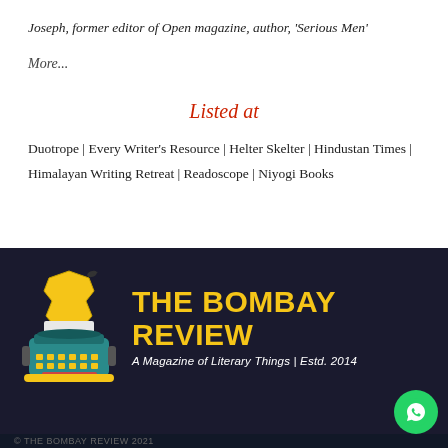Joseph, former editor of Open magazine, author, 'Serious Men'
More...
Listed at
Duotrope | Every Writer's Resource | Helter Skelter | Hindustan Times | Himalayan Writing Retreat | Readoscope | Niyogi Books
[Figure (logo): The Bombay Review logo: dark navy background with a typewriter illustration featuring a yellow India map, and bold yellow text 'THE BOMBAY REVIEW' with white italic subtitle 'A Magazine of Literary Things | Estd. 2014'. A green WhatsApp circle icon is at the bottom right.]
© THE BOMBAY REVIEW 2021